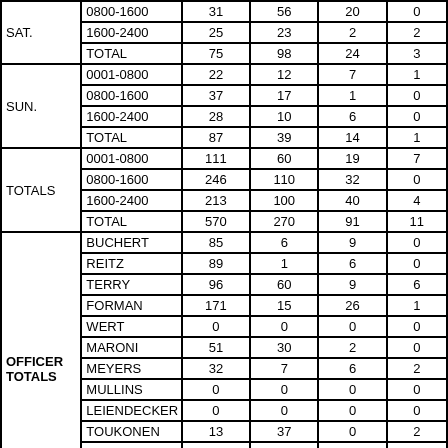|  |  |  |  |  |  |
| --- | --- | --- | --- | --- | --- |
| SAT. | 0800-1600 | 31 | 56 | 20 | 0 |
|  | 1600-2400 | 25 | 23 | 2 | 2 |
|  | TOTAL | 75 | 98 | 24 | 3 |
| SUN. | 0001-0800 | 22 | 12 | 7 | 1 |
|  | 0800-1600 | 37 | 17 | 1 | 0 |
|  | 1600-2400 | 28 | 10 | 6 | 0 |
|  | TOTAL | 87 | 39 | 14 | 1 |
| TOTALS | 0001-0800 | 111 | 60 | 19 | 7 |
|  | 0800-1600 | 246 | 110 | 32 | 0 |
|  | 1600-2400 | 213 | 100 | 40 | 4 |
|  | TOTAL | 570 | 270 | 91 | 11 |
| OFFICER TOTALS | BUCHERT | 85 | 6 | 9 | 0 |
|  | REITZ | 89 | 1 | 6 | 0 |
|  | TERRY | 96 | 60 | 9 | 6 |
|  | FORMAN | 171 | 15 | 26 | 1 |
|  | WERT | 0 | 0 | 0 | 0 |
|  | MARONI | 51 | 30 | 2 | 0 |
|  | MEYERS | 32 | 7 | 6 | 2 |
|  | MULLINS | 0 | 0 | 0 | 0 |
|  | LEIENDECKER | 0 | 0 | 0 | 0 |
|  | TOUKONEN | 13 | 37 | 0 | 2 |
|  | CLEMENS | 0 | 0 | 0 | 0 |
|  | JUSTUS | 23 | 68 | 9 | 0 |
|  | PROKOP | 10 | 46 | 24 | 0 |